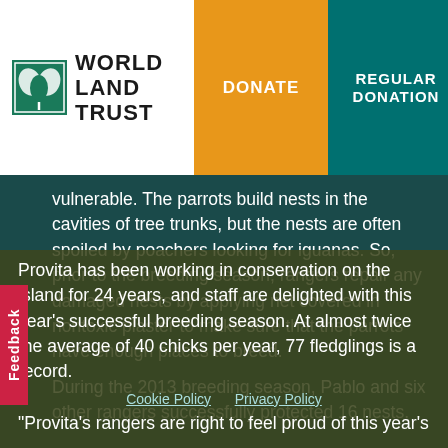World Land Trust | DONATE | REGULAR DONATION
vulnerable. The parrots build nests in the cavities of tree trunks, but the nests are often spoiled by poachers looking for iguanas. So, prior to the breeding season, rangers repair any damaged nests by applying net covered in nontoxic plaster to make sure that the parrots have enough places to breed.
During the 2013 breeding season, Pablo and six other rangers successfully protected 16 nests.
Provita has been working in conservation on the island for 24 years, and staff are delighted with this year's successful breeding season. At almost twice the average of 40 chicks per year, 77 fledglings is a record.
“Provita’s rangers are right to feel proud of this year’s
Cookie Policy  Privacy Policy